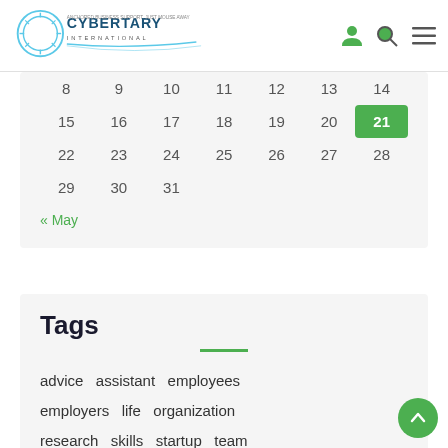Cybertary International – navigation bar with logo, user icon, search icon, menu icon
| 8 | 9 | 10 | 11 | 12 | 13 | 14 |
| 15 | 16 | 17 | 18 | 19 | 20 | 21 |
| 22 | 23 | 24 | 25 | 26 | 27 | 28 |
| 29 | 30 | 31 |  |  |  |  |
« May
Tags
advice  assistant  employees  employers  life  organization  research  skills  startup  team  tips  train  workflow